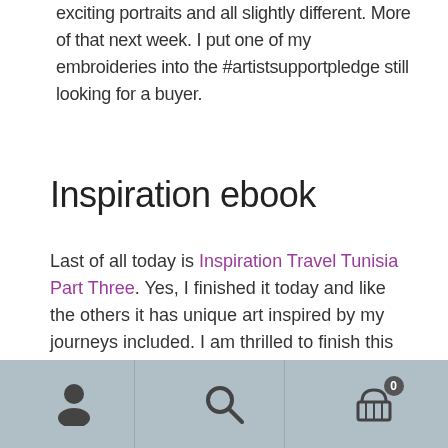exciting portraits and all slightly different. More of that next week. I put one of my embroideries into the #artistsupportpledge still looking for a buyer.
Inspiration ebook
Last of all today is Inspiration Travel Tunisia Part Three. Yes, I finished it today and like the others it has unique art inspired by my journeys included. I am thrilled to finish this three part guide book series.
[Figure (photo): Partial view of a book cover with dark purple/indigo background and red floral or abstract artwork]
Navigation toolbar with person icon, search icon, and shopping cart with badge showing 0